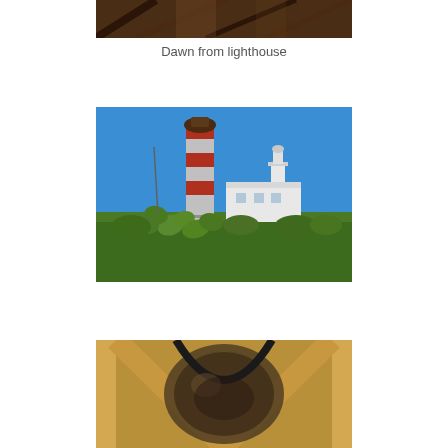[Figure (photo): Partial photo cropped at top — dark wooden interior with diagonal lines, dawn scene viewed from lighthouse]
Dawn from lighthouse
[Figure (photo): Lighthouse photo — tall red and white striped lighthouse tower with a smaller white lighthouse building and keeper's house, surrounded by cacti and green shrubs under a bright blue sky]
[Figure (photo): Partial photo at bottom — close-up of wooden beam structure with a curved black metal element, interior of a lighthouse or similar wooden structure]